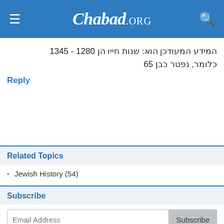Chabad.ORG
המידע המעודכן הוא: שנות חייו הן 1280 - 1345 כלומר, נפטר כבן 65
Reply
Related Topics
Jewish History (54)
Subscribe
Email Address
Subscribe to Today in Judaism
More subscription options »